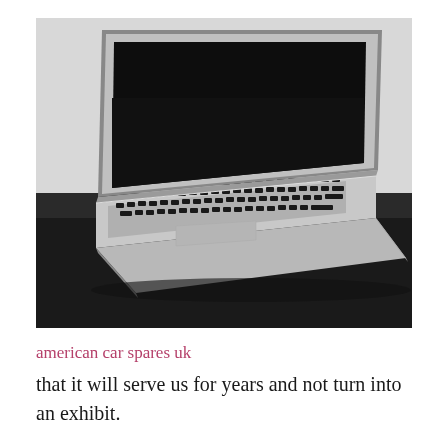[Figure (photo): Close-up photo of a silver MacBook laptop from the side, showing the keyboard, trackpad, and open screen with black display. The laptop rests on a dark surface against a light gray background.]
american car spares uk
that it will serve us for years and not turn into an exhibit.